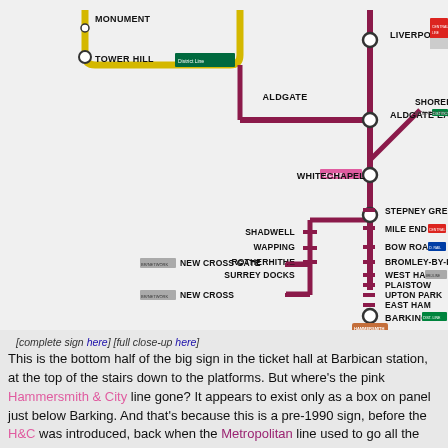[Figure (map): London Underground tube map diagram showing the bottom portion of a station sign at Barbican, depicting lines including District (dark red/maroon), District, and other lines. Stations shown include Monument, Tower Hill, Liverpool Street, Aldgate, Aldgate East, Shoreditch, Whitechapel, Shadwell, Wapping, Rotherhithe, Surrey Docks, New Cross Gate, New Cross, Stepney Green, Mile End, Bow Road, Bromley-by-Bow, West Ham, Plaistow, Upton Park, East Ham, Barking. Various interchange markers and line indicators shown.]
[complete sign here] [full close-up here]
This is the bottom half of the big sign in the ticket hall at Barbican station, at the top of the stairs down to the platforms. But where's the pink Hammersmith & City line gone? It appears to exist only as a box on panel just below Barking. And that's because this is a pre-1990 sign, before the H&C was introduced, back when the Metropolitan line used to go all the way to West Ham and beyond. Nowadays the Metropolitan line terminates at Aldgate, and the